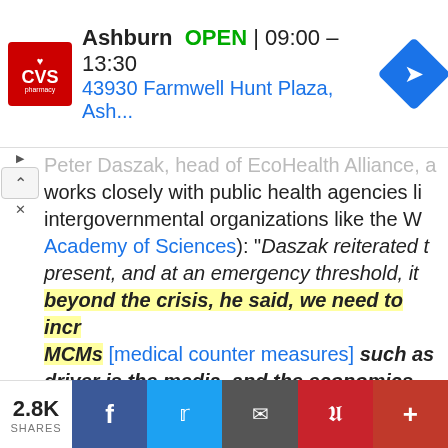[Figure (screenshot): CVS Pharmacy advertisement banner showing Ashburn location, OPEN 09:00-13:30, address 43930 Farmwell Hunt Plaza, Ash...]
Peter Daszak, head of EcoHealth Alliance, a works closely with public health agencies li intergovernmental organizations like the W Academy of Sciences): "Daszak reiterated t present, and at an emergency threshold, it beyond the crisis, he said, we need to incr MCMs [medical counter measures] such as driver is the media, and the economics fol advantage to get to the real issues. Investo process, Daszak stated." [Emphasis mine]
[Figure (screenshot): Social share bar showing 2.8K shares, Facebook, Twitter, Email, Pinterest, and plus buttons]